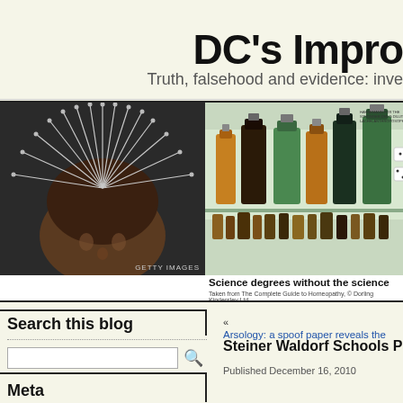DC's Impro
Truth, falsehood and evidence: inve
[Figure (photo): Banner image split into two panels: left panel shows a person with acupuncture needles in their head (dark/dramatic, GETTY IMAGES watermark), right panel shows homeopathic medicine bottles on shelves with text 'Science degrees without the science' and caption 'Taken from The Complete Guide to Homeopathy, © Dorling Kindersley Ltd']
Search this blog
Meta
« Arsology: a spoof paper reveals the
Steiner Waldorf Schools Pa
Published December 16, 2010